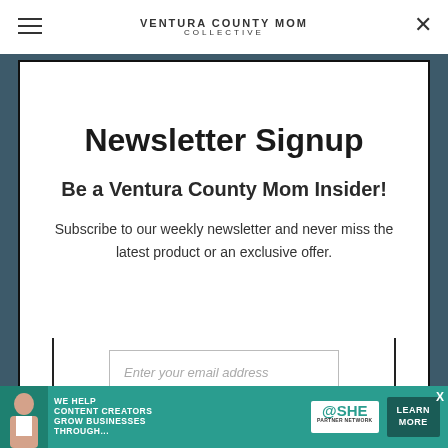Ventura County Mom Collective
Newsletter Signup
Be a Ventura County Mom Insider!
Subscribe to our weekly newsletter and never miss the latest product or an exclusive offer.
Enter your email address
[Figure (screenshot): SHE Media partner network advertisement banner: We help content creators grow businesses through... SHE Partner Network - Become a Member. Learn More button.]